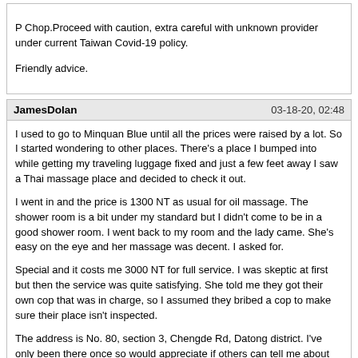P Chop.Proceed with caution, extra careful with unknown provider under current Taiwan Covid-19 policy.

Friendly advice.
JamesDolan
03-18-20, 02:48
I used to go to Minquan Blue until all the prices were raised by a lot. So I started wondering to other places. There's a place I bumped into while getting my traveling luggage fixed and just a few feet away I saw a Thai massage place and decided to check it out.

I went in and the price is 1300 NT as usual for oil massage. The shower room is a bit under my standard but I didn't come to be in a good shower room. I went back to my room and the lady came. She's easy on the eye and her massage was decent. I asked for.

Special and it costs me 3000 NT for full service. I was skeptic at first but then the service was quite satisfying. She told me they got their own cop that was in charge, so I assumed they bribed a cop to make sure their place isn't inspected.

The address is No. 80, section 3, Chengde Rd, Datong district. I've only been there once so would appreciate if others can tell me about other girls.
AsiaFever
05-14-20, 04:21
Are you guys starting to go back to MP?
Gamer76
05-15-20, 05:17
Will be coming to Taipei 3/5 and have been reading the forum. Great reporting!

Like BB but don't understand why some of you guys will DATY between a